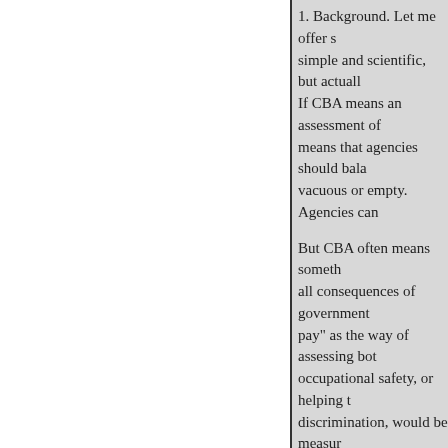1. Background. Let me offer s simple and scientific, but actuall If CBA means an assessment of means that agencies should bala vacuous or empty. Agencies can
But CBA often means someth all consequences of government pay" as the way of assessing bot occupational safety, or helping t discrimination, would be measur On this view, we would measure people would be willing to pay t the value of life by looking to la "upper bound" on expenditures p advantages to efforts of this sort,
Presidents Reagan, Bush, and C understanding of CBA Quantific analysis and given officials real, cannot easily be monetized, and problems of measurement: With Grand Canyon, in light of the fa